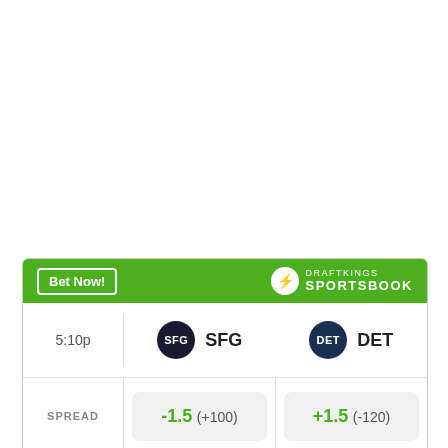[Figure (infographic): DraftKings Sportsbook betting widget showing a matchup between SFG and DET at 5:10p, with spread odds -1.5 (+100) vs +1.5 (-120), and money line odds -165 vs +140.]